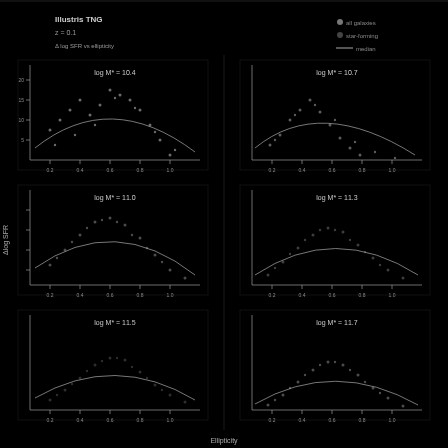[Figure (continuous-plot): Dark scientific figure showing scatter/distribution plots or spectral data on a black background. Multiple panels visible with axes, data points, and labels in white/light text against the black background. Appears to show astronomical or physics measurement data with multiple sub-panels arranged in a grid layout.]